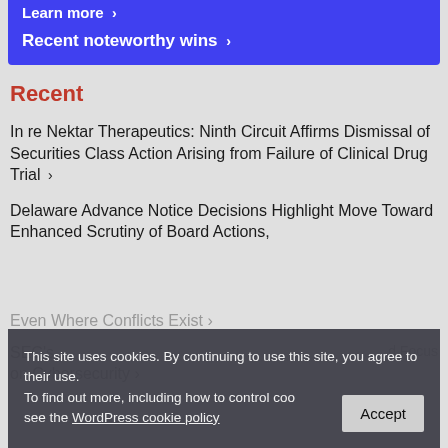Learn more ›
Recent noteworthy wins ›
Recent
In re Nektar Therapeutics: Ninth Circuit Affirms Dismissal of Securities Class Action Arising from Failure of Clinical Drug Trial ›
Delaware Advance Notice Decisions Highlight Move Toward Enhanced Scrutiny of Board Actions, Even Where Conflicts Exist ›
SEC's… Focused on Cybersecurity ›
This site uses cookies. By continuing to use this site, you agree to their use. To find out more, including how to control cookies, see the WordPress cookie policy